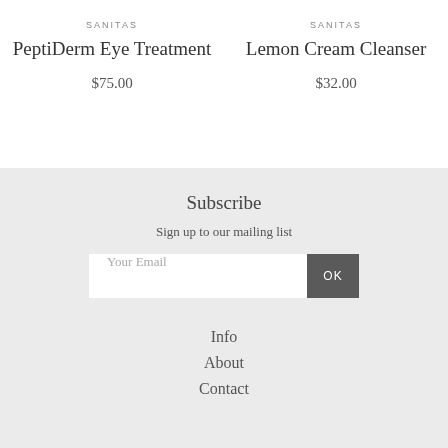SANITAS
PeptiDerm Eye Treatment
$75.00
SANITAS
Lemon Cream Cleanser
$32.00
Subscribe
Sign up to our mailing list
Your Email
OK
Info
About
Contact